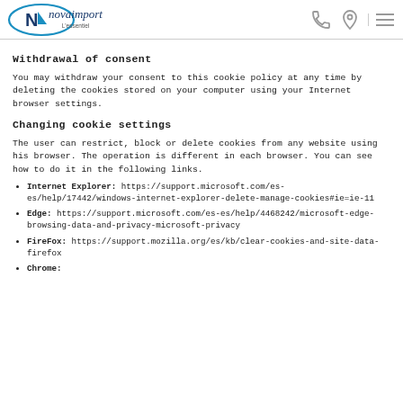novaimport
Withdrawal of consent
You may withdraw your consent to this cookie policy at any time by deleting the cookies stored on your computer using your Internet browser settings.
Changing cookie settings
The user can restrict, block or delete cookies from any website using his browser. The operation is different in each browser. You can see how to do it in the following links.
Internet Explorer: https://support.microsoft.com/es-es/help/17442/windows-internet-explorer-delete-manage-cookies#ie=ie-11
Edge: https://support.microsoft.com/es-es/help/4468242/microsoft-edge-browsing-data-and-privacy-microsoft-privacy
FireFox: https://support.mozilla.org/es/kb/clear-cookies-and-site-data-firefox
Chrome: